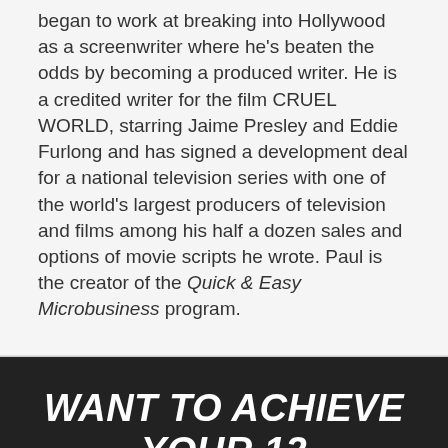began to work at breaking into Hollywood as a screenwriter where he's beaten the odds by becoming a produced writer. He is a credited writer for the film CRUEL WORLD, starring Jaime Presley and Eddie Furlong and has signed a development deal for a national television series with one of the world's largest producers of television and films among his half a dozen sales and options of movie scripts he wrote. Paul is the creator of the Quick & Easy Microbusiness program.
WANT TO ACHIEVE YOUR 12 MONTH GOALS IN THE